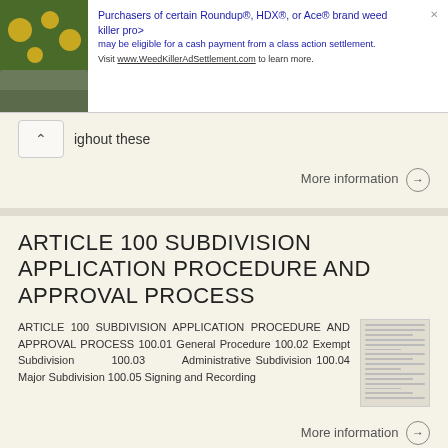[Figure (other): Advertisement banner: image of yellow flowers on rocks on left, text about Roundup/HDX/Ace weed killer class action settlement on right]
ighout these
More information →
ARTICLE 100 SUBDIVISION APPLICATION PROCEDURE AND APPROVAL PROCESS
ARTICLE 100 SUBDIVISION APPLICATION PROCEDURE AND APPROVAL PROCESS 100.01 General Procedure 100.02 Exempt Subdivision 100.03 Administrative Subdivision 100.04 Major Subdivision 100.05 Signing and Recording
More information →
Preliminary Plat/Final Plat Application
Melissa Municipal Center 3411 Barker